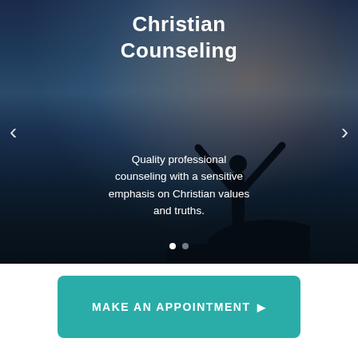[Figure (photo): Hero image slideshow with silhouette of a person standing on a rock with arms raised against a twilight sky over water, with navigation arrows on left and right sides]
Christian Counseling
Quality professional counseling with a sensitive emphasis on Christian values and truths.
MAKE AN APPOINTMENT ▶